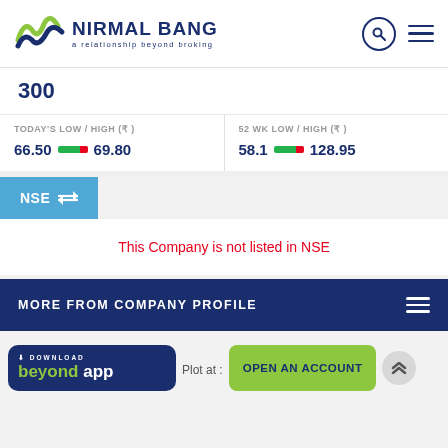[Figure (logo): Nirmal Bang logo with wave icon and tagline 'a relationship beyond broking']
300
TODAY'S LOW / HIGH (₹)
66.50  69.80
52 WK LOW / HIGH (₹)
58.1  128.95
NSE ⇌
This Company is not listed in NSE
MORE FROM COMPANY PROFILE
DOWNLOAD beyond app
Plot at :
OPEN AN ACCOUNT